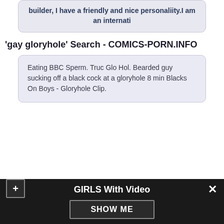builder, I have a friendly and nice personaliity.I am an internati
'gay gloryhole' Search - COMICS-PORN.INFO
Eating BBC Sperm. Truc Glo Hol. Bearded guy sucking off a black cock at a gloryhole 8 min Blacks On Boys - Gloryhole Clip.
GIRLS With Video SHOW ME